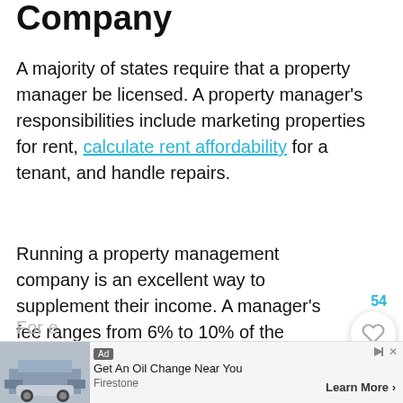Company
A majority of states require that a property manager be licensed. A property manager's responsibilities include marketing properties for rent, calculate rent affordability for a tenant, and handle repairs.
Running a property management company is an excellent way to supplement their income. A manager's fee ranges from 6% to 10% of the monthly rental income. A property manager that takes care of multiple rental properties can make a sizable income.
For e...
[Figure (screenshot): Ad banner: Firestone oil change advertisement with 'Get An Oil Change Near You', 'Learn More' button, and ad label. Floating UI buttons: heart/like button with count 54, and teal search button.]